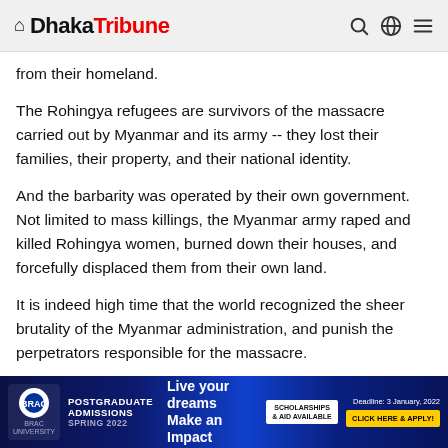Dhaka Tribune
from their homeland.
The Rohingya refugees are survivors of the massacre carried out by Myanmar and its army -- they lost their families, their property, and their national identity.
And the barbarity was operated by their own government. Not limited to mass killings, the Myanmar army raped and killed Rohingya women, burned down their houses, and forcefully displaced them from their own land.
It is indeed high time that the world recognized the sheer brutality of the Myanmar administration, and punish the perpetrators responsible for the massacre.
Within our limited resources, Bangladesh has been brave and kind enough to receive the refugees to whatever capacity we have done so far.
[Figure (other): BRAC University advertisement banner: Postgraduate Admissions Spring 2022, Live your dreams Make an Impact, Scholarships & Aid Available, Deadline: 3 January, 2022, Click Here & Apply!]